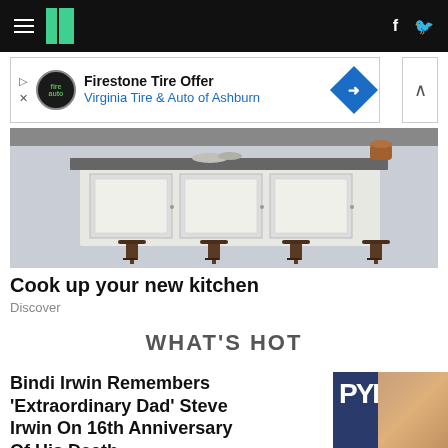HuffPost navigation header with hamburger menu, logo, Facebook and Twitter icons
[Figure (screenshot): Advertisement banner: Firestone Tire Offer - Virginia Tire & Auto of Ashburn]
[Figure (photo): Kitchen interior with white cabinets, kitchen island, and dark bar stools]
Cook up your new kitchen
Discover
WHAT'S HOT
Bindi Irwin Remembers 'Extraordinary Dad' Steve Irwin On 16th Anniversary Of His Death
[Figure (photo): Photo of Bindi Irwin smiling at event with PYK sign in background]